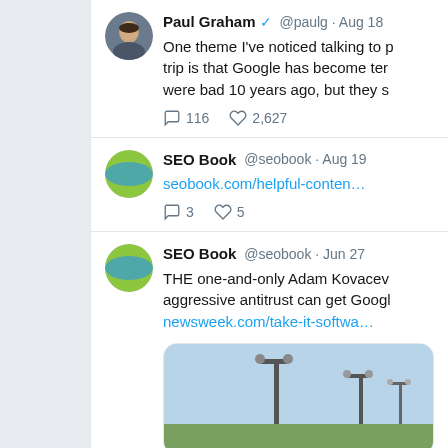[Figure (screenshot): Twitter/X feed screenshot showing three tweets. First tweet by Paul Graham (@paulg, Aug 18) about Google search quality, with 116 replies and 2,627 likes. Second tweet by SEO Book (@seobook, Aug 19) with link seobook.com/helpful-conten... with 3 replies and 5 likes. Third tweet by SEO Book (@seobook, Jun 27) about Adam Kovacevich and antitrust vs Google, with link newsweek.com/take-it-softwa... and an image of a bridge and lamp posts.]